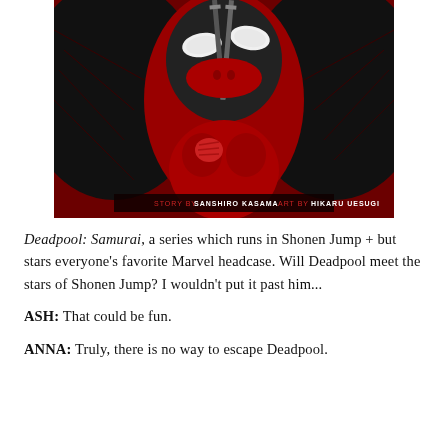[Figure (illustration): Comic book cover art for Deadpool: Samurai. Red and black illustration showing Deadpool's masked face close-up with white eye lenses and swords behind him, surrounded by detailed chaotic artwork. Credit bar at bottom reads: STORY BY SANSHIRO KASAMA  ART BY HIKARU UESUGI]
Deadpool: Samurai, a series which runs in Shonen Jump + but stars everyone's favorite Marvel headcase. Will Deadpool meet the stars of Shonen Jump? I wouldn't put it past him...
ASH: That could be fun.
ANNA: Truly, there is no way to escape Deadpool.